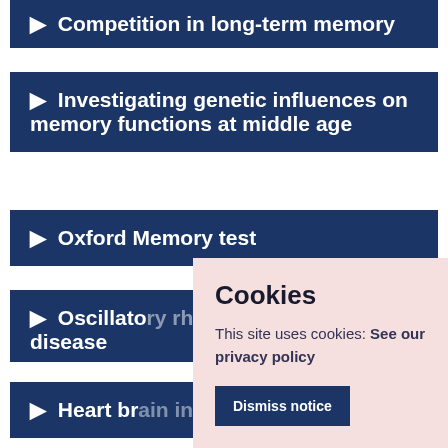▶ Competition in long-term memory
▶ Investigating genetic influences on memory functions at middle age
▶ Oxford Memory test
▶ Oscillato... disease
▶ Heart br...
Cookies
This site uses cookies: See our privacy policy
Dismiss notice